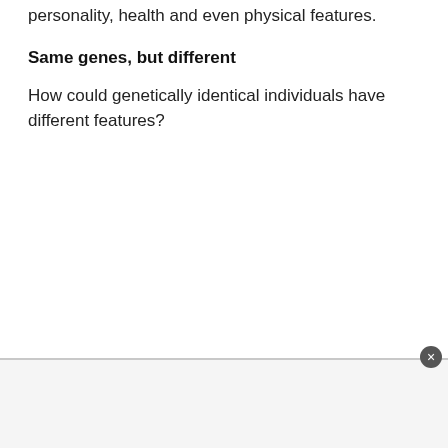personality, health and even physical features.
Same genes, but different
How could genetically identical individuals have different features?